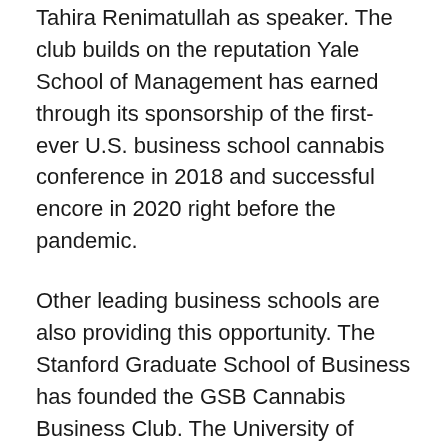Tahira Renimatullah as speaker. The club builds on the reputation Yale School of Management has earned through its sponsorship of the first-ever U.S. business school cannabis conference in 2018 and successful encore in 2020 right before the pandemic.
Other leading business schools are also providing this opportunity. The Stanford Graduate School of Business has founded the GSB Cannabis Business Club. The University of California at Berkeley Haas School of Business has a Cannabis Industry Club that features a “Higher Margins” speaker series and a yearly “SHECANN” conference focused on promoting opportunities for women and minorities. In New York City, Stern School of Business MBA students at New York University have the